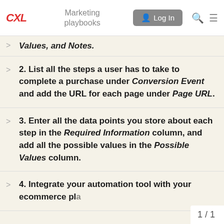CXL | Marketing playbooks | Log In
Values, and Notes.
2. List all the steps a user has to take to complete a purchase under Conversion Event and add the URL for each page under Page URL.
3. Enter all the data points you store about each step in the Required Information column, and add all the possible values in the Possible Values column.
4. Integrate your automation tool with your ecommerce pla
1 / 1